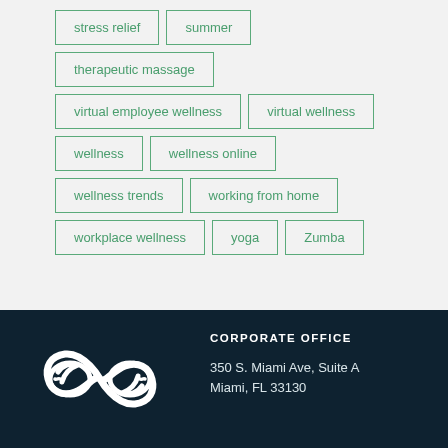stress relief
summer
therapeutic massage
virtual employee wellness
virtual wellness
wellness
wellness online
wellness trends
working from home
workplace wellness
yoga
Zumba
[Figure (logo): White infinity loop logo with stylized bird/wing motifs on dark navy background]
CORPORATE OFFICE
350 S. Miami Ave, Suite A
Miami, FL 33130